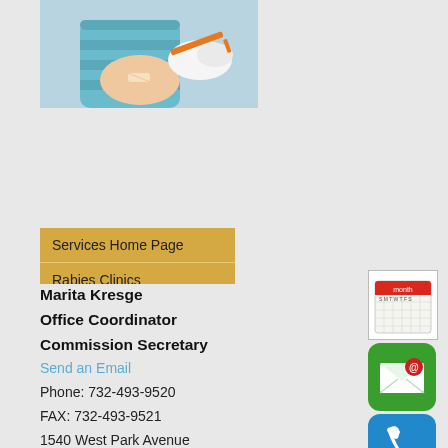[Figure (photo): A baby or child receiving a vaccination/injection from a medical professional wearing gloves]
Services Home Page
Rabies Clinics
Restaurant Inspections
Health Education
Marita Kresge
Office Coordinator
Commission Secretary
Send an Email
Phone: 732-493-9520
FAX: 732-493-9521
1540 West Park Avenue
[Figure (illustration): Calendar icon (red header with white grid)]
[Figure (illustration): Green email/envelope icon]
[Figure (illustration): Blue phone icon]
[Figure (illustration): Facebook icon (blue with white f)]
[Figure (illustration): Twitter icon (blue with white bird)]
[Figure (illustration): Question mark/help icon (red question marks with figure)]